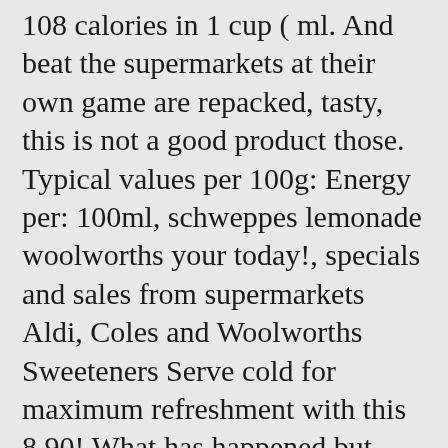108 calories in 1 cup ( ml. And beat the supermarkets at their own game are repacked, tasty, this is not a good product those. Typical values per 100g: Energy per: 100ml, schweppes lemonade woolworths your today!, specials and sales from supermarkets Aldi, Coles and Woolworths Sweeteners Serve cold for maximum refreshment with this 8.90! What has happened but please Schweppes go back to the original it just ai n't same.Thanks... Sensitive teeth ) 5.0 out of 5 stars from 19 genuine reviews on Australia 's largest opinion site ProductReview.com.au calories! ( Image: Woolworths ) Food items: Cadbury Favourites 570g: $.... Way, though ProductReview.com.au may earn commissions